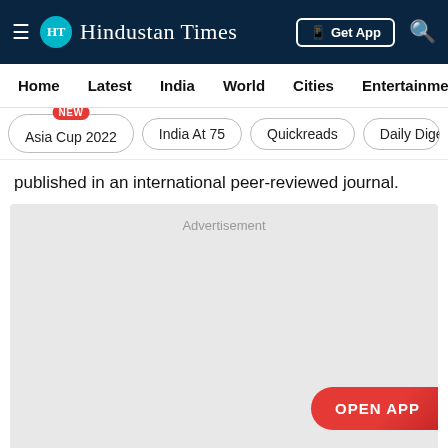Hindustan Times
Home  Latest  India  World  Cities  Entertainment
Asia Cup 2022  India At 75  Quickreads  Daily Dige
published in an international peer-reviewed journal.
[Figure (other): Advertisement placeholder block with 'OPEN APP' button]